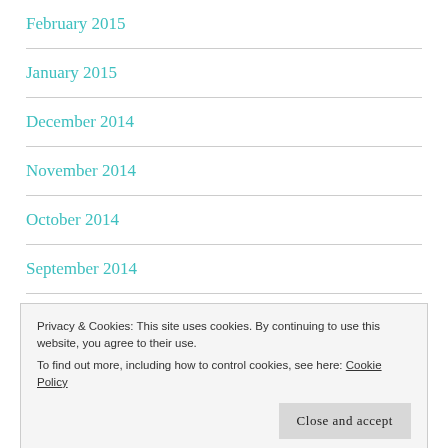February 2015
January 2015
December 2014
November 2014
October 2014
September 2014
Privacy & Cookies: This site uses cookies. By continuing to use this website, you agree to their use.
To find out more, including how to control cookies, see here: Cookie Policy
June 2014